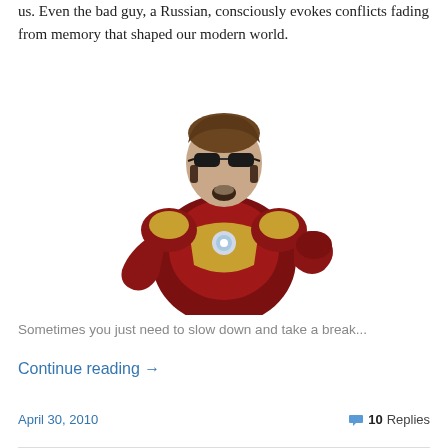us. Even the bad guy, a Russian, consciously evokes conflicts fading from memory that shaped our modern world.
[Figure (photo): Iron Man (Tony Stark) in red and gold armor, wearing sunglasses, posed in a relaxed seated position]
Sometimes you just need to slow down and take a break...
Continue reading →
April 30, 2010   10 Replies